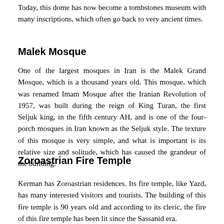Today, this dome has now become a tombstones museum with many inscriptions, which often go back to very ancient times.
Malek Mosque
One of the largest mosques in Iran is the Malek Grand Mosque, which is a thousand years old. This mosque, which was renamed Imam Mosque after the Iranian Revolution of 1957, was built during the reign of King Turan, the first Seljuk king, in the fifth century AH, and is one of the four-porch mosques in Iran known as the Seljuk style. The texture of this mosque is very simple, and what is important is its relative size and solitude, which has caused the grandeur of the building.
Zoroastrian Fire Temple
Kerman has Zoroastrian residences. Its fire temple, like Yazd, has many interested visitors and tourists. The building of this fire temple is 90 years old and according to its cleric, the fire of this fire temple has been lit since the Sassanid era.